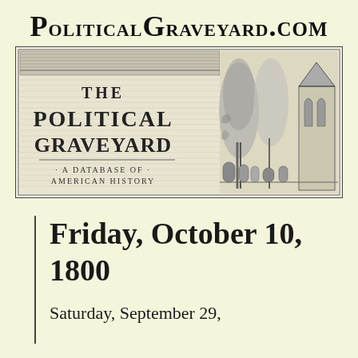PoliticalGraveyard.com
[Figure (illustration): The Political Graveyard banner illustration showing a graveyard scene with tombstones, trees, gothic architecture and the text 'THE POLITICAL GRAVEYARD - A Database of American History']
Friday, October 10, 1800
Saturday, September 29,